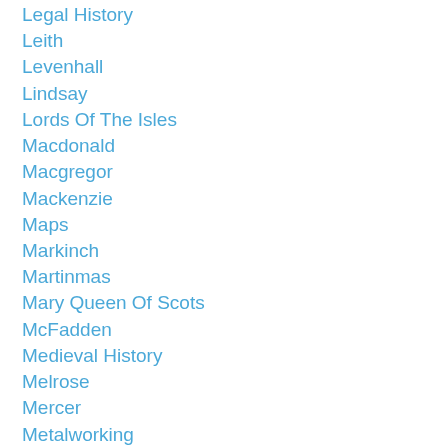Legal History
Leith
Levenhall
Lindsay
Lords Of The Isles
Macdonald
Macgregor
Mackenzie
Maps
Markinch
Martinmas
Mary Queen Of Scots
McFadden
Medieval History
Melrose
Mercer
Metalworking
Military History
Mills
Mining
Moidart